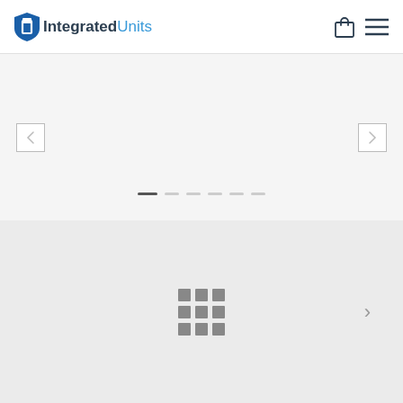IntegratedUnits — navigation header with logo, shopping bag icon, and menu icon
[Figure (screenshot): Image slider section with left and right navigation arrows (empty white boxes), and six pagination dots at the bottom center, on a light gray background]
[Figure (screenshot): Product grid section on light gray background with a 3x3 grid icon in the center and a right chevron arrow on the right side]